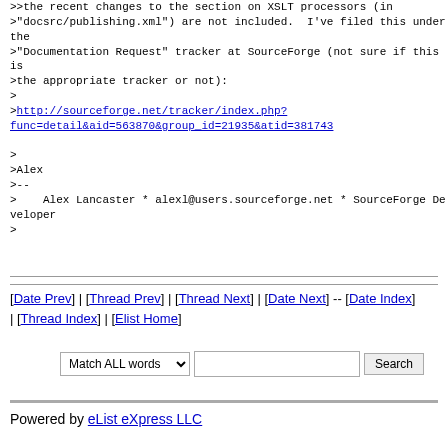>the recent changes to the section on XSLT processors (in
>"docsrc/publishing.xml") are not included.  I've filed this under the
>"Documentation Request" tracker at SourceForge (not sure if this is
>the appropriate tracker or not):
>
>http://sourceforge.net/tracker/index.php?func=detail&aid=563870&group_id=21935&atid=381743

>
>Alex
>--
>    Alex Lancaster * alexl@users.sourceforge.net * SourceForge Developer
>
[Date Prev] | [Thread Prev] | [Thread Next] | [Date Next] -- [Date Index] | [Thread Index] | [Elist Home]
Match ALL words  [search]  Search
Powered by eList eXpress LLC